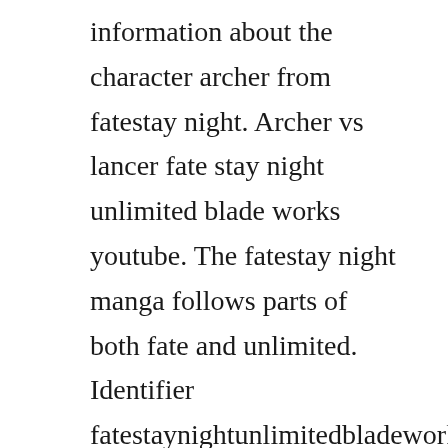information about the character archer from fatestay night. Archer vs lancer fate stay night unlimited blade works youtube. The fatestay night manga follows parts of both fate and unlimited. Identifier fatestaynightunlimitedbladeworks2015 run time 24. Saber, lancer, archer, rider, caster, assassin and berserker. Unlimited blade works is primarily based on the unlimited blade works storyline in the fatestay night visual novel, in which shirou emiya, a high school student and amateur mage living in fuyuki city, japan, is dragged into the fifth holy grail